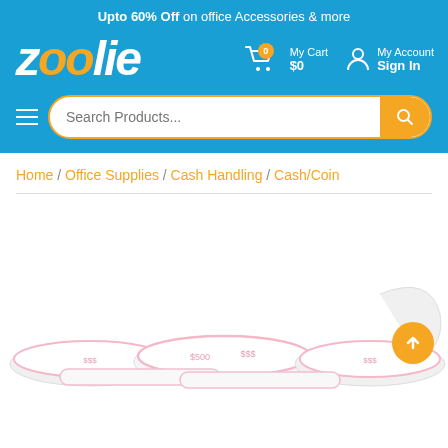Upto 60% Off on office Accessories & more
[Figure (logo): Zoolie logo in white and orange italic text on blue background]
My Cart $0
My Account Sign In
Search Products...
Home / Office Supplies / Cash Handling / Cash/Coin
[Figure (photo): Product photo showing cash/coin currency bands with pink stripes and printed denominations]